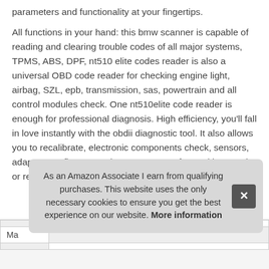parameters and functionality at your fingertips.
All functions in your hand: this bmw scanner is capable of reading and clearing trouble codes of all major systems, TPMS, ABS, DPF, nt510 elite codes reader is also a universal OBD code reader for checking engine light, airbag, SZL, epb, transmission, sas, powertrain and all control modules check. One nt510elite code reader is enough for professional diagnosis. High efficiency, you'll fall in love instantly with the obdii diagnostic tool. It also allows you to recalibrate, electronic components check, sensors, adapt or configure certain components after making repairs or replacement.
As an Amazon Associate I earn from qualifying purchases. This website uses the only necessary cookies to ensure you get the best experience on our website. More information